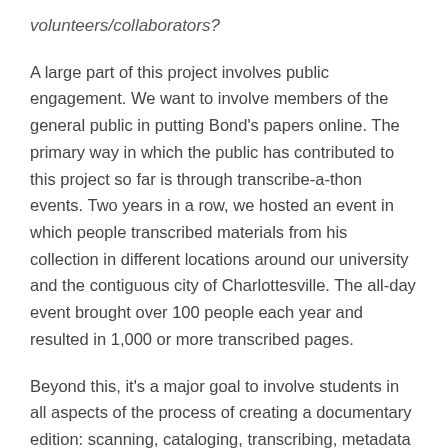volunteers/collaborators?
A large part of this project involves public engagement. We want to involve members of the general public in putting Bond's papers online. The primary way in which the public has contributed to this project so far is through transcribe-a-thon events. Two years in a row, we hosted an event in which people transcribed materials from his collection in different locations around our university and the contiguous city of Charlottesville. The all-day event brought over 100 people each year and resulted in 1,000 or more transcribed pages.
Beyond this, it's a major goal to involve students in all aspects of the process of creating a documentary edition: scanning, cataloging, transcribing, metadata entry, and curating project derivatives. To this end we have